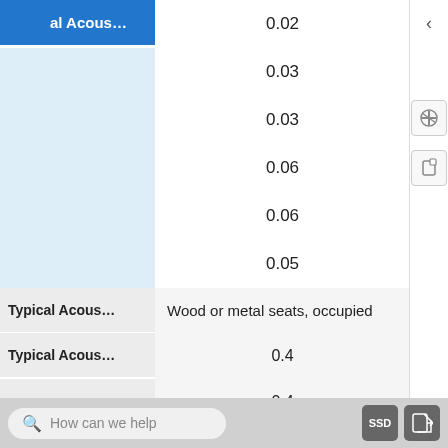| al Acous... | Value |
| --- | --- |
|  | 0.02 |
|  | 0.03 |
|  | 0.03 |
|  | 0.06 |
|  | 0.06 |
|  | 0.05 |
| Typical Acous... | Wood or metal seats, occupied |
| Typical Acous... | 0.4 |
|  | 0.4 |
|  | 0.7 |
How can we help